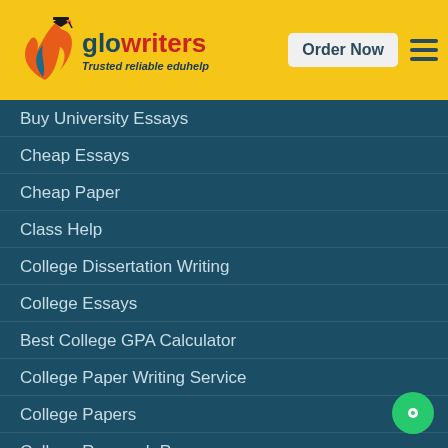[Figure (logo): Glowriters logo with graduation cap figure and text 'glowriters - Trusted reliable eduhelp' on yellow header bar]
Buy University Essays
Cheap Essays
Cheap Paper
Class Help
College Dissertation Writing
College Essays
Best College GPA Calculator
College Paper Writing Service
College Papers
College Research Papers
Computer Assignment